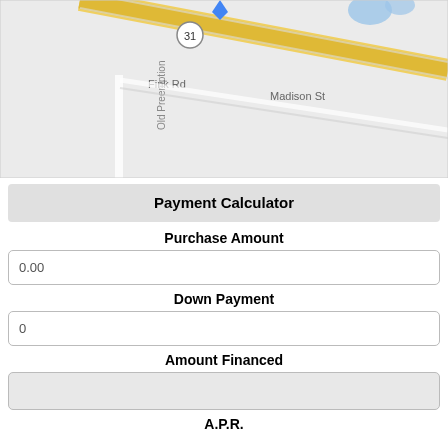[Figure (map): Street map showing route 31, Fink Rd, Madison St, and Old Preemption road intersection area]
Payment Calculator
Purchase Amount
0.00
Down Payment
0
Amount Financed
A.P.R.